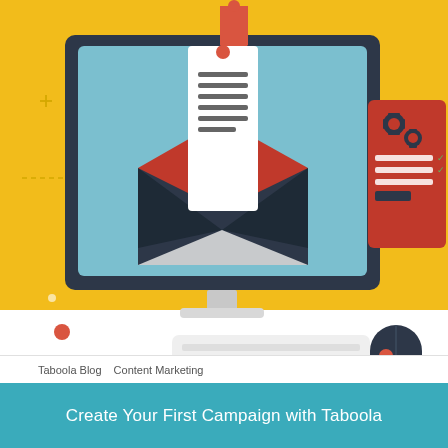[Figure (illustration): Flat design illustration of a desktop computer monitor on a yellow background. The monitor screen shows an open dark blue envelope with a white letter/document coming out of it. Above the monitor is a red speech bubble triangle pointer. To the right side is a red UI panel with gear icons and form fields. On the desk below are a white keyboard and a dark computer mouse with a red dot. Decorative elements include a small red circle, dashed lines, and plus signs on the yellow background.]
Taboola Blog   Content Marketing
Create Your First Campaign with Taboola